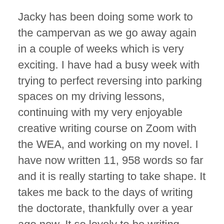Jacky has been doing some work to the campervan as we go away again in a couple of weeks which is very exciting. I have had a busy week with trying to perfect reversing into parking spaces on my driving lessons, continuing with my very enjoyable creative writing course on Zoom with the WEA, and working on my novel. I have now written 11, 958 words so far and it is really starting to take shape. It takes me back to the days of writing the doctorate, thankfully over a year ago now. It so lovely to be writing things just for me and I am thoroughly enjoying the process.
I hope life is good with all of you, and that you are enjoying your weekend whatever you are doing. I will be back soon with more lovely museum textiles so until then have fun, take care, stay safe and thanks for visiting...